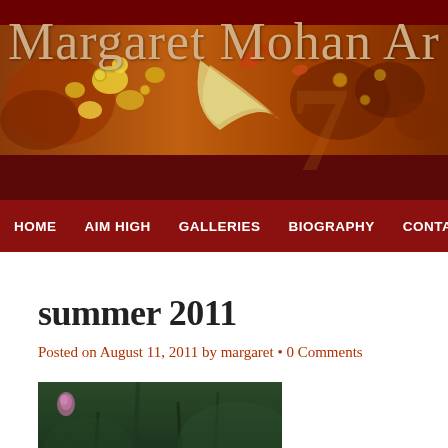[Figure (illustration): Website header banner showing artwork with warm autumn tones — golden yellow flowers, orange-brown leaves, a pale bird/leaf shape in the center, on a dark red background. The site title 'Margaret Mohan Ar' (truncated) appears in large serif font overlaid on the artwork.]
Margaret Mohan Ar
HOME   AIM HIGH   GALLERIES   BIOGRAPHY   CONTACT
summer 2011
Posted on August 11, 2011 by margaret • 0 Comments
[Figure (photo): A photograph showing green garden/nature scene, blurry background with plants, dark green tones, a pink/purple flower bud visible in upper left area.]